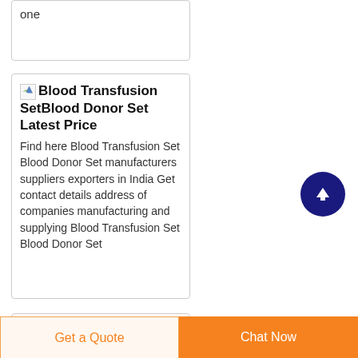one
Blood Transfusion SetBlood Donor Set Latest Price
Find here Blood Transfusion Set Blood Donor Set manufacturers suppliers exporters in India Get contact details address of companies manufacturing and supplying Blood Transfusion Set Blood Donor Set
Get a Quote
Chat Now